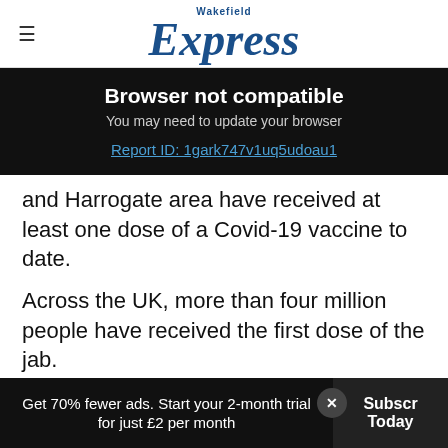Wakefield Express
[Figure (screenshot): Browser not compatible overlay on dark background with text: 'Browser not compatible', 'You may need to update your browser', and link 'Report ID: 1gark747v1uq5udoau1']
and Harrogate area have received at least one dose of a Covid-19 vaccine to date.
Across the UK, more than four million people have received the first dose of the jab.
[Figure (photo): Advertisement: 'ICE OUT THE COMPETITION' YETI cooler products with 'SHOP NOW' button]
In a s d:
Get 70% fewer ads. Start your 2-month trial for just £2 per month
Subscribe Today